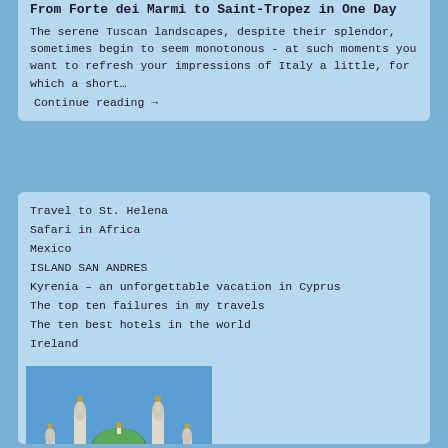From Forte dei Marmi to Saint-Tropez in One Day
The serene Tuscan landscapes, despite their splendor, sometimes begin to seem monotonous - at such moments you want to refresh your impressions of Italy a little, for which a short…
Continue reading →
Travel to St. Helena
Safari in Africa
Mexico
ISLAND SAN ANDRES
Kyrenia – an unforgettable vacation in Cyprus
The top ten failures in my travels
The ten best hotels in the world
Ireland
Portugal
From Forte dei Marmi to Saint-Tropez in One Day
[Figure (photo): Photo of a white mosque with green dome and four minarets, surrounded by palm trees against a blue sky. Likely in the Middle East or North Africa.]